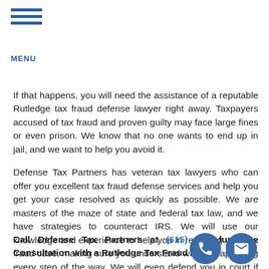MENU
If that happens, you will need the assistance of a reputable Rutledge tax fraud defense lawyer right away. Taxpayers accused of tax fraud and proven guilty may face large fines or even prison. We know that no one wants to end up in jail, and we want to help you avoid it.
Defense Tax Partners has veteran tax lawyers who can offer you excellent tax fraud defense services and help you get your case resolved as quickly as possible. We are masters of the maze of state and federal tax law, and we have strategies to counteract IRS. We will use our knowledge and experience to help you in resolving your tax fraud case, making sure you understand what is happening every step of the way. We will even defend you in court if need be.
Call Defense Tax Partners at (615) 23... for your Free Consultation with a Rutledge Tax Fraud Defense